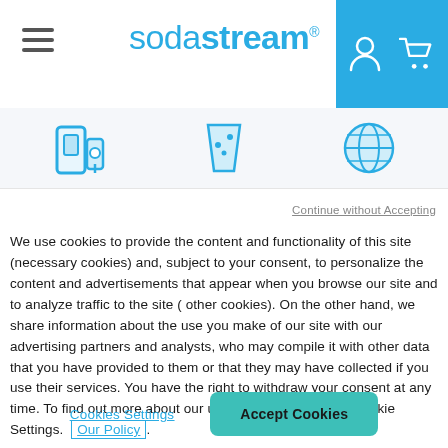[Figure (screenshot): SodaStream website header with hamburger menu on left, SodaStream logo in center, and cyan/blue box on right with person and cart icons]
[Figure (illustration): Icon strip showing three blue icons: soda machine, drink glass, and globe/earth]
Continue without Accepting
We use cookies to provide the content and functionality of this site (necessary cookies) and, subject to your consent, to personalize the content and advertisements that appear when you browse our site and to analyze traffic to the site ( other cookies). On the other hand, we share information about the use you make of our site with our advertising partners and analysts, who may compile it with other data that you have provided to them or that they may have collected if you use their services. You have the right to withdraw your consent at any time. To find out more about our use of cookies, see our Cookie Settings.  Our Policy.
Cookies Settings
Accept Cookies